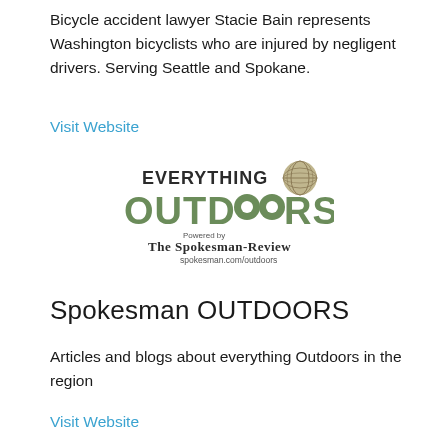Bicycle accident lawyer Stacie Bain represents Washington bicyclists who are injured by negligent drivers. Serving Seattle and Spokane.
Visit Website
[Figure (logo): Everything Outdoors logo powered by The Spokesman-Review, spokesman.com/outdoors]
Spokesman OUTDOORS
Articles and blogs about everything Outdoors in the region
Visit Website